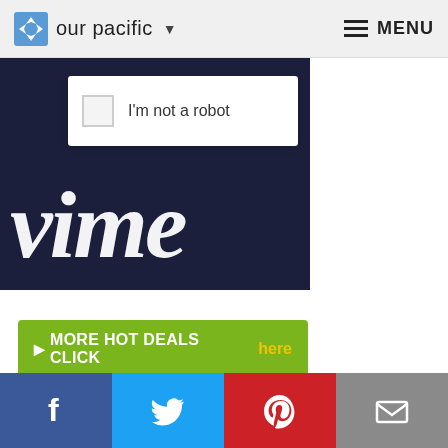our pacific ▼  MENU
[Figure (screenshot): Dark navy background with partial Vimeo logo in white cursive text, partially visible showing 'vime'. A CAPTCHA checkbox widget overlaid showing 'I'm not a robot'.]
▶ More HOT DEALS click here
▶ RESORT INFO click here
▶ WEDDING INFO click here
[Figure (infographic): Social media share bar with Facebook, Twitter, Pinterest, and email icons]